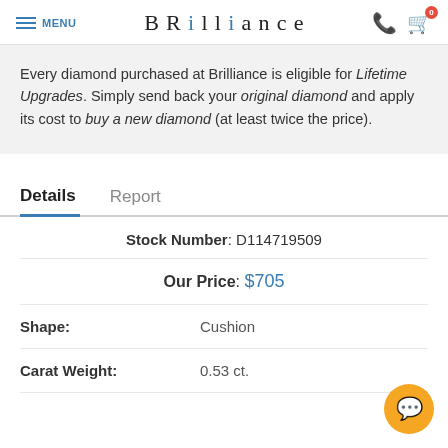MENU | BRILLIANCE | phone | cart (0)
Every diamond purchased at Brilliance is eligible for Lifetime Upgrades. Simply send back your original diamond and apply its cost to buy a new diamond (at least twice the price).
Details | Report
Stock Number: D114719509
Our Price: $705
Shape: Cushion
Carat Weight: 0.53 ct.